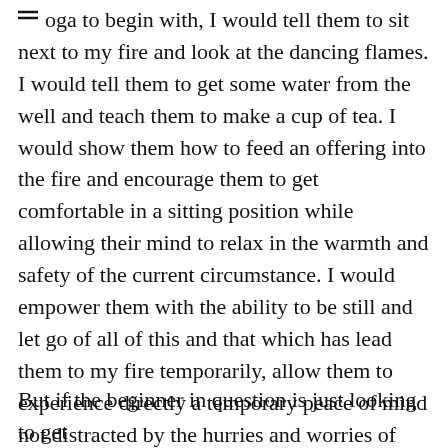yoga to begin with, I would tell them to sit next to my fire and look at the dancing flames. I would tell them to get some water from the well and teach them to make a cup of tea. I would show them how to feed an offering into the fire and encourage them to get comfortable in a sitting position while allowing their mind to relax in the warmth and safety of the current circumstance. I would empower them with the ability to be still and let go of all of this and that which has lead them to my fire temporarily, allow them to experience directly a temporary peace of mind not distracted by the hurries and worries of what comes next. Talk would turn to God and the miracle of being, the great good fortune to be born as a human, the infinite potential of our conscious awareness and how to approach training for the development of the same.
But if the beginner in question is just looking to get